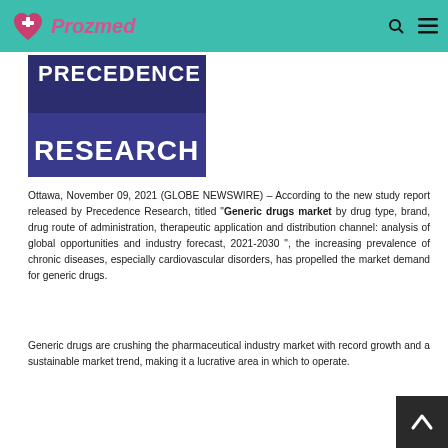Prozmed
[Figure (logo): Precedence Research logo — dark navy/purple background with white bold text reading PRECEDENCE RESEARCH in two lines]
Ottawa, November 09, 2021 (GLOBE NEWSWIRE) – According to the new study report released by Precedence Research, titled "Generic drugs market by drug type, brand, drug route of administration, therapeutic application and distribution channel: analysis of global opportunities and industry forecast, 2021-2030 ", the increasing prevalence of chronic diseases, especially cardiovascular disorders, has propelled the market demand for generic drugs.
Generic drugs are crushing the pharmaceutical industry market with record growth and a sustainable market trend, making it a lucrative area in which to operate.